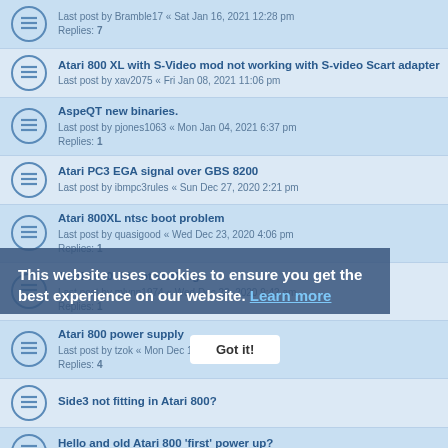Last post by Bramble17 « Sat Jan 16, 2021 12:28 pm
Replies: 7
Atari 800 XL with S-Video mod not working with S-video Scart adapter
Last post by xav2075 « Fri Jan 08, 2021 11:06 pm
AspeQT new binaries.
Last post by pjones1063 « Mon Jan 04, 2021 6:37 pm
Replies: 1
Atari PC3 EGA signal over GBS 8200
Last post by ibmpc3rules « Sun Dec 27, 2020 2:21 pm
Atari 800XL ntsc boot problem
Last post by quasigood « Wed Dec 23, 2020 4:06 pm
Replies: 1
Atari 2600 JR not working
Last post by mlynn1974 « Wed Dec 23, 2020 9:42 am
Replies: 1
Atari 800 power supply
Last post by tzok « Mon Dec 14, 2020 10:35 am
Replies: 4
Side3 not fitting in Atari 800?
Hello and old Atari 800 'first' power up?
Last post by johnha « Sat Nov 21, 2020 8:12 pm
Spectracube Invasion - Information Needed
Last post by Mug UK « Sat Aug 29, 2020 2:04 pm
Replies: 9
This website uses cookies to ensure you get the best experience on our website. Learn more
Got it!